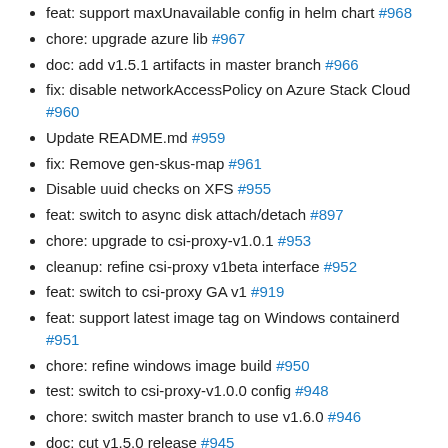feat: support maxUnavailable config in helm chart #968
chore: upgrade azure lib #967
doc: add v1.5.1 artifacts in master branch #966
fix: disable networkAccessPolicy on Azure Stack Cloud #960
Update README.md #959
fix: Remove gen-skus-map #961
Disable uuid checks on XFS #955
feat: switch to async disk attach/detach #897
chore: upgrade to csi-proxy-v1.0.1 #953
cleanup: refine csi-proxy v1beta interface #952
feat: switch to csi-proxy GA v1 #919
feat: support latest image tag on Windows containerd #951
chore: refine windows image build #950
test: switch to csi-proxy-v1.0.0 config #948
chore: switch master branch to use v1.6.0 #946
doc: cut v1.5.0 release #945